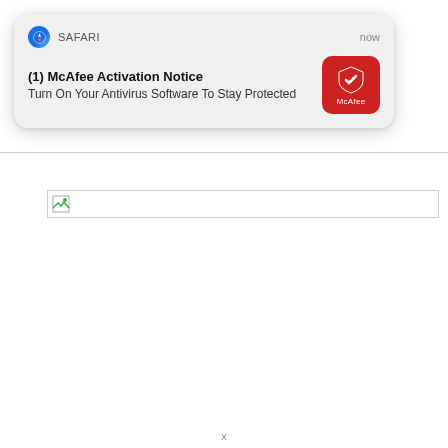[Figure (screenshot): A Safari browser notification popup showing a McAfee Activation Notice scam notification. The popup reads '(1) McAfee Activation Notice' and 'Turn On Your Antivirus Software To Stay Protected' with a McAfee red shield icon. The notification appears over a webpage with faded background content including a date 'NOV. 27, 2018 11:24 PM' and '141 COMMENTS' in red, along with a horizontal divider and a broken image placeholder.]
NOV. 27, 2018 11:24 PM  141 COMMENTS
x